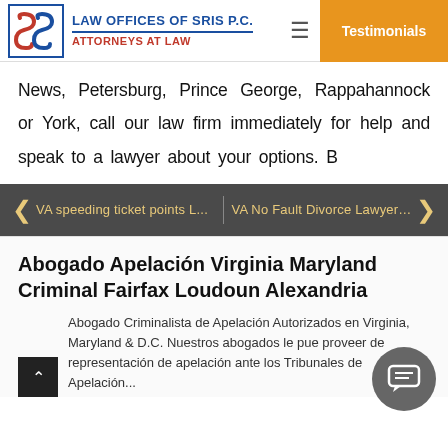LAW OFFICES OF SRIS P.C. ATTORNEYS AT LAW | Testimonials
News, Petersburg, Prince George, Rappahannock or York, call our law firm immediately for help and speak to a lawyer about your options. B
VA speeding ticket points L... | VA No Fault Divorce Lawyer ...
Abogado Apelación Virginia Maryland Criminal Fairfax Loudoun Alexandria
Abogado Criminalista de Apelación Autorizados en Virginia, Maryland & D.C. Nuestros abogados le puede proveer de representación de apelación ante los Tribunales de Apelación...